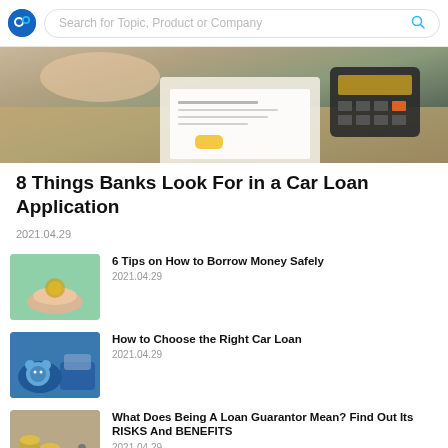Search for Topic, Product or Company
[Figure (photo): Person signing a loan agreement document on a clipboard with a calculator in the background on a wooden desk]
8 Things Banks Look For in a Car Loan Application
2021.04.29
6 Tips on How to Borrow Money Safely
2021.04.29
How to Choose the Right Car Loan
2021.04.29
What Does Being A Loan Guarantor Mean? Find Out Its RISKS And BENEFITS
2021.04.29